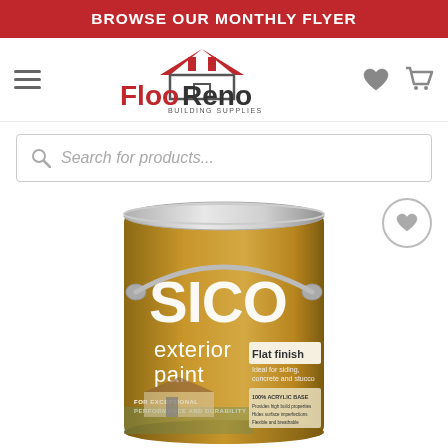BROWSE OUR MONTHLY FLYER
[Figure (logo): FlooReno Building Supplies logo with house icon]
Search for products...
[Figure (photo): SICO exterior paint can - flat finish, ideal for siding, concrete and stucco. For exceptional performance and durability. 100% acrylic base.]